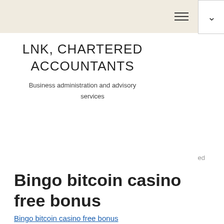LNK, CHARTERED ACCOUNTANTS — Business administration and advisory services
Bingo bitcoin casino free bonus
Bingo bitcoin casino free bonus
[Figure (photo): Blurred photo appearing at bottom of page, teal/blue tones]